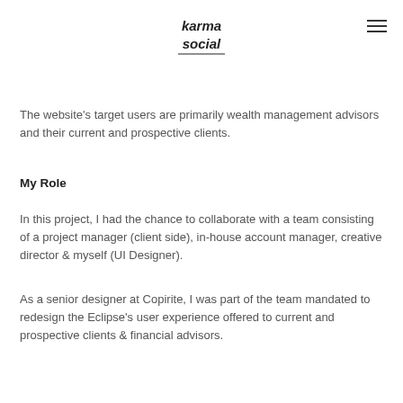[Figure (logo): Karma Social logo in italic/bold script style]
The website’s target users are primarily wealth management advisors and their current and prospective clients.
My Role
In this project, I had the chance to collaborate with a team consisting of a project manager (client side), in-house account manager, creative director & myself (UI Designer).
As a senior designer at Copirite, I was part of the team mandated to redesign the Eclipse's user experience offered to current and prospective clients & financial advisors.